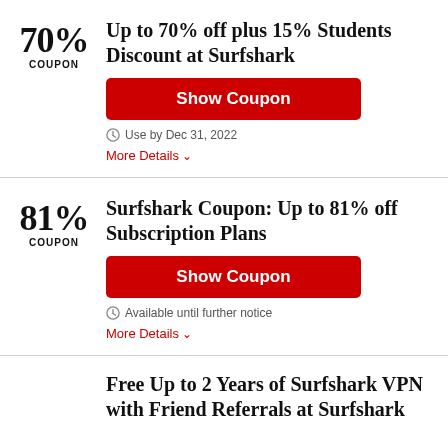70% COUPON
Up to 70% off plus 15% Students Discount at Surfshark
Show Coupon
Use by Dec 31, 2022
More Details
81% COUPON
Surfshark Coupon: Up to 81% off Subscription Plans
Show Coupon
Available until further notice
More Details
Free Up to 2 Years of Surfshark VPN with Friend Referrals at Surfshark